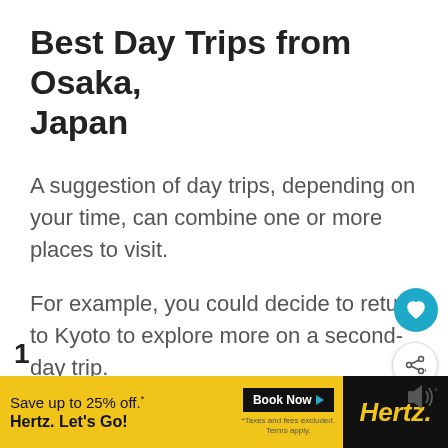Best Day Trips from Osaka, Japan
A suggestion of day trips, depending on your time, can combine one or more places to visit.
For example, you could decide to return to Kyoto to explore more on a second-day trip.
Here are some of the best ideas for a day trip from Osaka.
[Figure (other): Advertisement banner for Hertz car rental: 'Save up to 25% off. Hertz. Let's Go!' with Book Now button and Hertz logo]